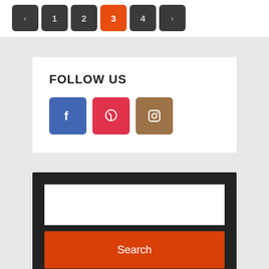[Figure (other): Pagination navigation bar with buttons: left arrow, 1, 2, 3 (active/orange), 4, right arrow]
FOLLOW US
[Figure (other): Social media icon buttons: Facebook (blue), Pinterest (red), Instagram (brown)]
[Figure (other): Search widget with text input field and orange Search button]